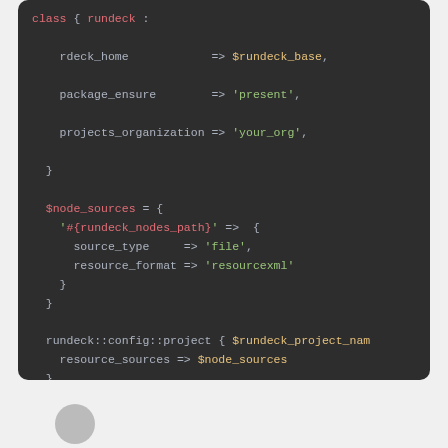[Figure (screenshot): Syntax-highlighted code block on dark background showing Puppet/Ruby configuration code for rundeck with node sources, project config, and resource sources settings.]